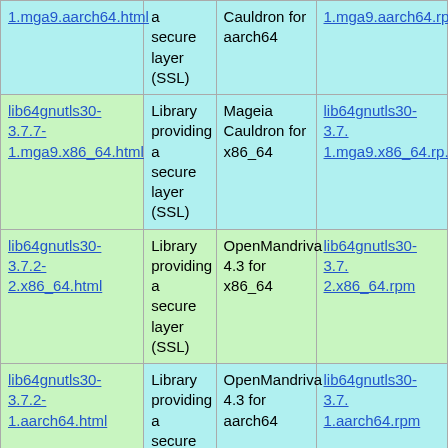| Package | Description | Distribution | RPM |
| --- | --- | --- | --- |
| 1.mga9.aarch64.html | a secure layer (SSL) | Cauldron for aarch64 | 1.mga9.aarch64.rp... |
| lib64gnutls30-3.7.7-1.mga9.x86_64.html | Library providing a secure layer (SSL) | Mageia Cauldron for x86_64 | lib64gnutls30-3.7...1.mga9.x86_64.rp... |
| lib64gnutls30-3.7.2-2.x86_64.html | Library providing a secure layer (SSL) | OpenMandriva 4.3 for x86_64 | lib64gnutls30-3.7...2.x86_64.rpm |
| lib64gnutls30-3.7.2-1.aarch64.html | Library providing a secure layer (SSL) | OpenMandriva 4.3 for aarch64 | lib64gnutls30-3.7...1.aarch64.rpm |
| lib64gnutls30-3.6.15-3.2.mga8.aarch64.html | Library providing a secure layer (SSL) | Mageia 8 for aarch64 | lib64gnutls30-3.6...3.2.mga8.aarch64... |
|  | Library providing... |  |  |